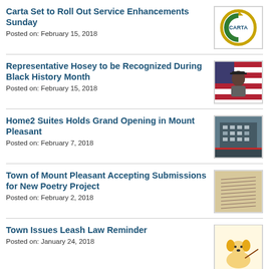Carta Set to Roll Out Service Enhancements Sunday
Posted on: February 15, 2018
[Figure (logo): CARTA circular logo with green and gold colors]
Representative Hosey to be Recognized During Black History Month
Posted on: February 15, 2018
[Figure (photo): Portrait of Representative Hosey in front of American flag]
Home2 Suites Holds Grand Opening in Mount Pleasant
Posted on: February 7, 2018
[Figure (photo): Photo of Home2 Suites building exterior with crowd]
Town of Mount Pleasant Accepting Submissions for New Poetry Project
Posted on: February 2, 2018
[Figure (photo): Photo of handwritten poetry on paper]
Town Issues Leash Law Reminder
Posted on: January 24, 2018
[Figure (photo): Poster of a dog on a leash with text 'Please Leash Your Dog']